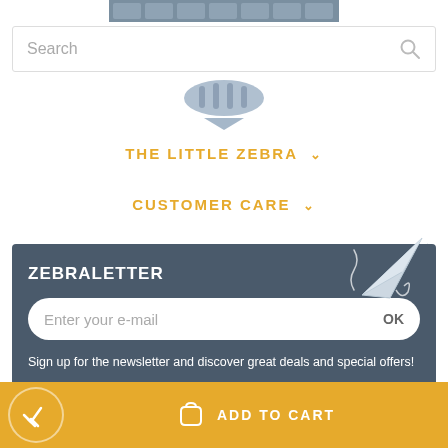[Figure (screenshot): Partial logo bar of The Little Zebra website, partially cropped at top]
Search
[Figure (illustration): Partial zebra animal illustration, cropped]
THE LITTLE ZEBRA ∨
CUSTOMER CARE ∨
ZEBRALETTER
Enter your e-mail
OK
Sign up for the newsletter and discover great deals and special offers!
FOLLOW US
[Figure (illustration): Social media icons: Facebook, Twitter, Pinterest, Instagram]
ADD TO CART